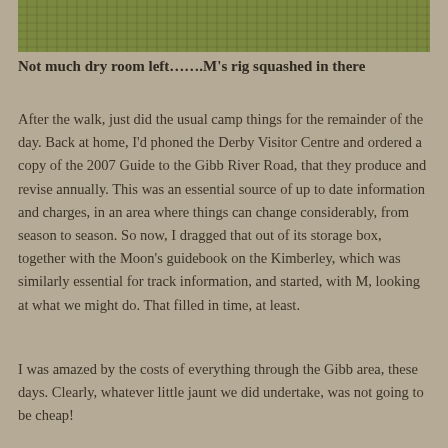[Figure (photo): Outdoor camping scene with grass and ground visible, partial view of camp equipment]
Not much dry room left…….M's rig squashed in there
After the walk, just did the usual camp things for the remainder of the day. Back at home, I'd phoned the Derby Visitor Centre and ordered a copy of the 2007 Guide to the Gibb River Road, that they produce and revise annually. This was an essential source of up to date information and charges, in an area where things can change considerably, from season to season. So now, I dragged that out of its storage box, together with the Moon's guidebook on the Kimberley, which was similarly essential for track information, and started, with M, looking at what we might do. That filled in time, at least.
I was amazed by the costs of everything through the Gibb area, these days. Clearly, whatever little jaunt we did undertake, was not going to be cheap!